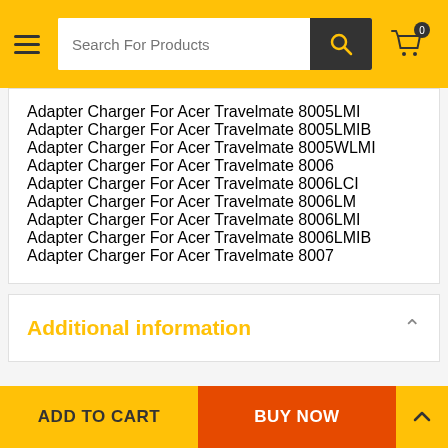Search For Products
Adapter Charger For Acer Travelmate 8005LMI
Adapter Charger For Acer Travelmate 8005LMIB
Adapter Charger For Acer Travelmate 8005WLMI
Adapter Charger For Acer Travelmate 8006
Adapter Charger For Acer Travelmate 8006LCI
Adapter Charger For Acer Travelmate 8006LM
Adapter Charger For Acer Travelmate 8006LMI
Adapter Charger For Acer Travelmate 8006LMIB
Adapter Charger For Acer Travelmate 8007
Additional information